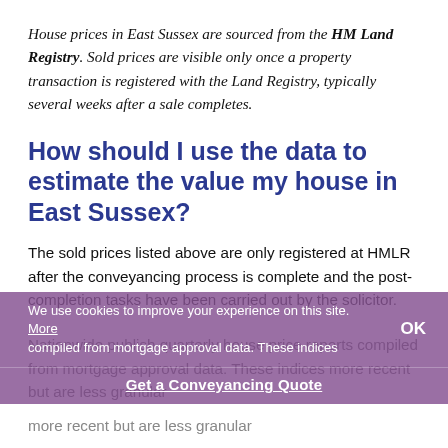House prices in East Sussex are sourced from the HM Land Registry. Sold prices are visible only once a property transaction is registered with the Land Registry, typically several weeks after a sale completes.
How should I use the data to estimate the value my house in East Sussex?
The sold prices listed above are only registered at HMLR after the conveyancing process is complete and the post-completion tasks have been carried out by the solicitor.
Nationwide publish quarterly house price reports compiled from mortgage approval data. These indices more recent but are less granular